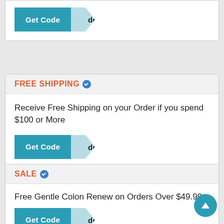[Figure (screenshot): Get Code button partially visible at top of page — teal button with white bold text 'Get Code' and a light blue folded flap showing 'de']
FREE SHIPPING ✓
Receive Free Shipping on your Order if you spend $100 or More
[Figure (screenshot): Get Code button — teal button with white bold text 'Get Code' and a light blue folded flap showing 'de']
SALE ✓
Free Gentle Colon Renew on Orders Over $49.99